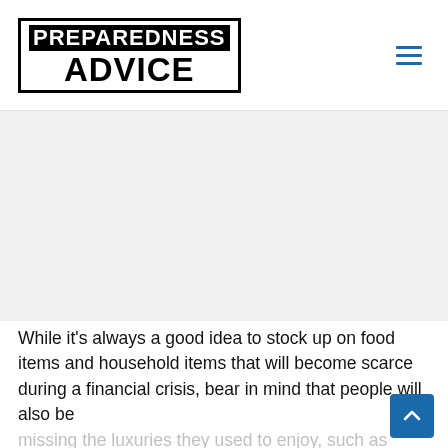[Figure (logo): Preparedness Advice logo — black bordered rectangle with PREPAREDNESS in white on black background and ADVICE in bold black text below]
[Figure (other): Hamburger menu icon with three horizontal blue lines]
[Figure (other): Light gray advertisement or image placeholder block]
While it's always a good idea to stock up on food items and household items that will become scarce during a financial crisis, bear in mind that people will also be missing the luxuries they used to enjoy, such as jewelry, alcohol, cigarettes, chocolate, tea, and coffee.